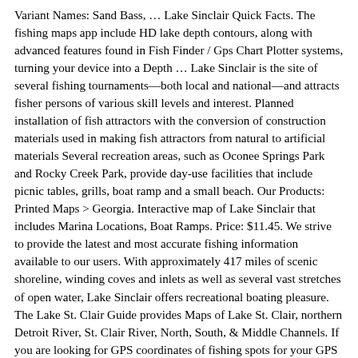Variant Names: Sand Bass, … Lake Sinclair Quick Facts. The fishing maps app include HD lake depth contours, along with advanced features found in Fish Finder / Gps Chart Plotter systems, turning your device into a Depth … Lake Sinclair is the site of several fishing tournaments—both local and national—and attracts fisher persons of various skill levels and interest. Planned installation of fish attractors with the conversion of construction materials used in making fish attractors from natural to artificial materials Several recreation areas, such as Oconee Springs Park and Rocky Creek Park, provide day-use facilities that include picnic tables, grills, boat ramp and a small beach. Our Products: Printed Maps > Georgia. Interactive map of Lake Sinclair that includes Marina Locations, Boat Ramps. Price: $11.45. We strive to provide the latest and most accurate fishing information available to our users. With approximately 417 miles of scenic shoreline, winding coves and inlets as well as several vast stretches of open water, Lake Sinclair offers recreational boating pleasure. The Lake St. Clair Guide provides Maps of Lake St. Clair, northern Detroit River, St. Clair River, North, South, & Middle Channels. If you are looking for GPS coordinates of fishing spots for your GPS Unit, you have come to the right place. Download GPS files of fishing spots. Product Details Lake Sinclair is well-known for giving up excellent numbers of bass from 1-1/2 to 2 pounds. See reviews, photos, directions, phone numbers and more for the best Fishing Guides in Lake Sinclair, GA. Fishing Status is